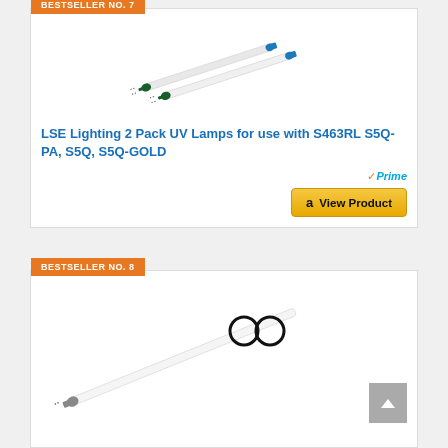BESTSELLER NO. 7
[Figure (photo): Two UV lamp tubes with blue/green end caps, shown diagonally on white background]
LSE Lighting 2 Pack UV Lamps for use with S463RL S5Q-PA, S5Q, S5Q-GOLD
Prime
View Product
BESTSELLER NO. 8
[Figure (photo): UV lamp tube with gray cap and two black O-rings, shown diagonally on white background]